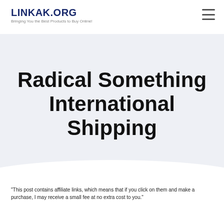LINKAK.ORG
Bringing You the Best Products to Buy Online!
Radical Something International Shipping
"This post contains affiliate links, which means that if you click on them and make a purchase, I may receive a small fee at no extra cost to you."